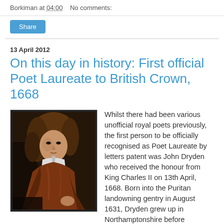Borkiman at 04:00   No comments:
Share
13 April 2012
On this day in history: First official Poet Laureate to British Crown, 1668
[Figure (photo): Portrait painting of John Dryden, a man with long curly brown hair wearing a rust/brown robe with white shirt collar visible, painted in a classic 17th century style against a dark background.]
Whilst there had been various unofficial royal poets previously, the first person to be officially recognised as Poet Laureate by letters patent was John Dryden who received the honour from King Charles II on 13th April, 1668. Born into the Puritan landowning gentry in August 1631, Dryden grew up in Northamptonshire before attending Westminster School, as a King's Scholar. After graduating from Trinity College, Cambridge, Dryden